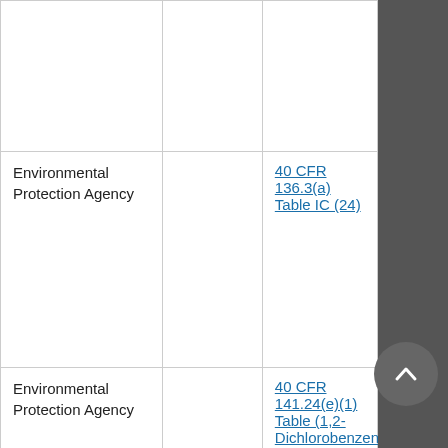|  |  |  |
| Environmental Protection Agency |  | 40 CFR 136.3(a) Table IC (24) |
| Environmental Protection Agency |  | 40 CFR 141.24(e)(1) Table (1,2-Dichlorobenzene) |
| Environmental |  | 40 CFR 141.24(e)(1) |